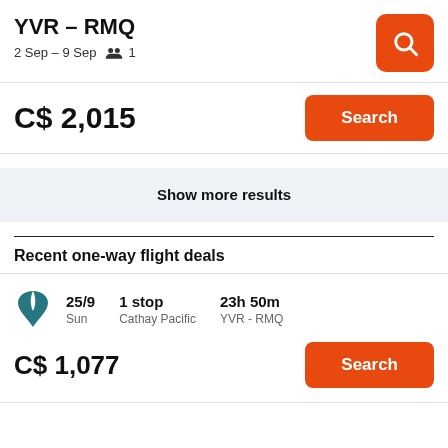YVR – RMQ
2 Sep – 9 Sep  👥 1
C$ 2,015
Search
Show more results
Recent one-way flight deals
25/9  Sun  |  1 stop  Cathay Pacific  |  23h 50m  YVR - RMQ
C$ 1,077
Search